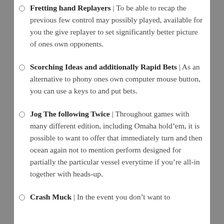Fretting hand Replayers | To be able to recap the previous few control may possibly played, available for you the give replayer to set significantly better picture of ones own opponents.
Scorching Ideas and additionally Rapid Bets | As an alternative to phony ones own computer mouse button, you can use a keys to and put bets.
Jog The following Twice | Throughout games with many different edition, including Omaha hold’em, it is possible to want to offer that immediately turn and then ocean again not to mention perform designed for partially the particular vessel everytime if you’re all-in together with heads-up.
Crash Muck | In the event you don’t want to